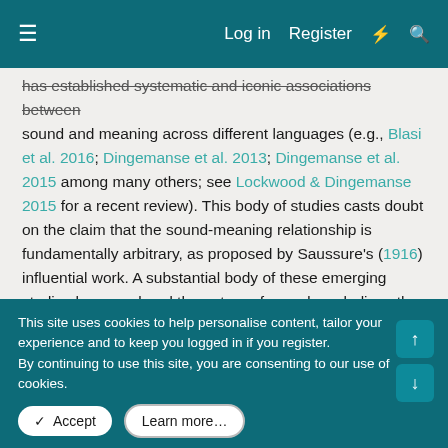≡    Log in   Register   ⚡   🔍
has established systematic and iconic associations between sound and meaning across different languages (e.g., Blasi et al. 2016; Dingemanse et al. 2013; Dingemanse et al. 2015 among many others; see Lockwood & Dingemanse 2015 for a recent review). This body of studies casts doubt on the claim that the sound-meaning relationship is fundamentally arbitrary, as proposed by Saussure's (1916) influential work. A substantial body of these emerging studies have explored the nature of sound symbolism, the long-held notion (see Plato, Cratylus: 427a) that some sounds may be more suitable than others to name or summon perceptual categories such as shape, speed, size, or brightness.
The current amount of evidence in favor of sound symbolism has shifted the question from whether sound symbolism
This site uses cookies to help personalise content, tailor your experience and to keep you logged in if you register.
By continuing to use this site, you are consenting to our use of cookies.